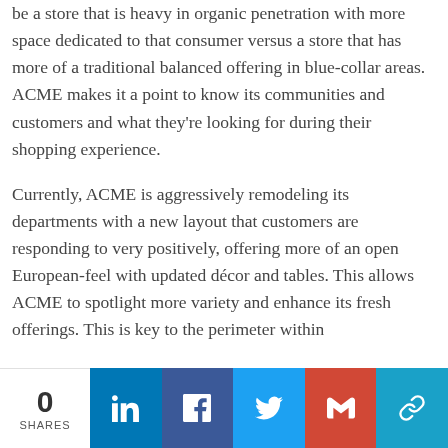be a store that is heavy in organic penetration with more space dedicated to that consumer versus a store that has more of a traditional balanced offering in blue-collar areas. ACME makes it a point to know its communities and customers and what they're looking for during their shopping experience.
Currently, ACME is aggressively remodeling its departments with a new layout that customers are responding to very positively, offering more of an open European-feel with updated décor and tables. This allows ACME to spotlight more variety and enhance its fresh offerings. This is key to the perimeter within
0 SHARES | LinkedIn | Facebook | Twitter | Gmail | Link